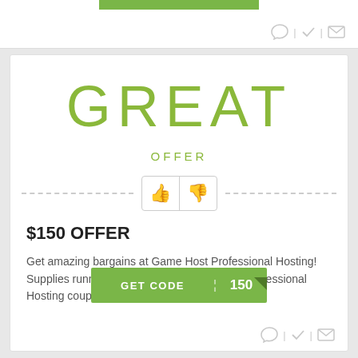[Figure (other): Top bar with green button strip and social icons (chat, check, mail)]
GREAT
OFFER
[Figure (other): Thumbs up and thumbs down rating buttons with dashed divider lines]
$150 OFFER
Get amazing bargains at Game Host Professional Hosting! Supplies running out so get this Game Host Professional Hosting coupon while you can.
[Figure (other): Green GET CODE button with 150 value and corner fold]
[Figure (other): Bottom icons row: chat, check, mail]